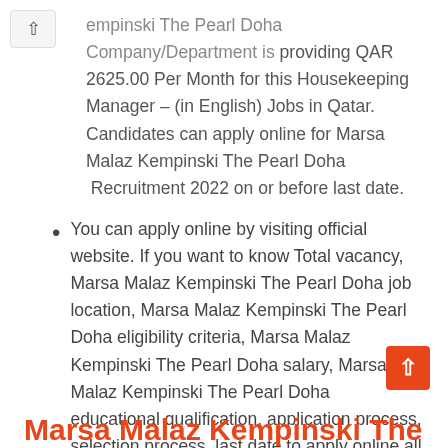empinski The Pearl Doha Company/Department is providing QAR 2625.00 Per Month for this Housekeeping Manager – (in English) Jobs in Qatar. Candidates can apply online for Marsa Malaz Kempinski The Pearl Doha  Recruitment 2022 on or before last date.
You can apply online by visiting official website. If you want to know Total vacancy, Marsa Malaz Kempinski The Pearl Doha job location, Marsa Malaz Kempinski The Pearl Doha eligibility criteria, Marsa Malaz Kempinski The Pearl Doha salary, Marsa Malaz Kempinski The Pearl Doha educational qualification, application process, selection process, last date to apply online all details provided in the below.
Marsa Malaz Kempinski The